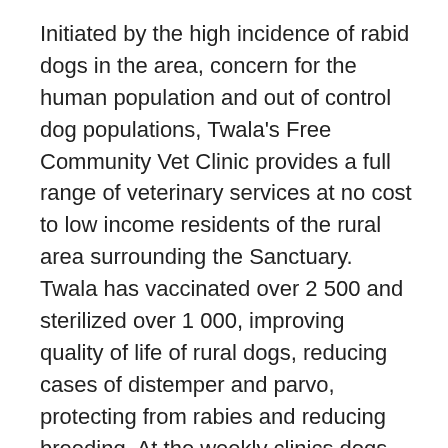Initiated by the high incidence of rabid dogs in the area, concern for the human population and out of control dog populations, Twala's Free Community Vet Clinic provides a full range of veterinary services at no cost to low income residents of the rural area surrounding the Sanctuary. Twala has vaccinated over 2 500 and sterilized over 1 000, improving quality of life of rural dogs, reducing cases of distemper and parvo, protecting from rabies and reducing breeding. At the weekly clinics dogs are treated, fed, vaccinated, dipped and dewormed. If owners agree to sterilized their dogs, their dogs receive a weekly nutritious meal. Between 200 and 500 dogs each week are fed at Twala, often the only meal these animals receive.
Education
Twala provides education on conservation matters to the local population. In return, the community calls on Twala to